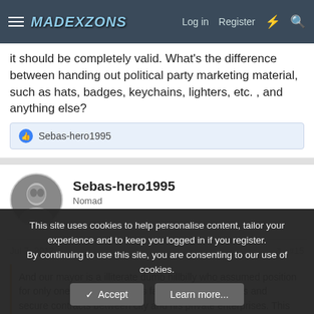MadeForums — Log in | Register
it should be completely valid. What's the difference between handing out political party marketing material, such as hats, badges, keychains, lighters, etc. , and anything else?
👍 Sebas-hero1995
Sebas-hero1995
Nomad
Jul 7, 2012  #15
And our mayor is a illiterate dumb hillbilly who assumed position for only one goal, to place his family in high positions and secure contracts between city and his private enterprises. This tactic allows you to see who's a real scumbag - poverty is fought with plans and
This site uses cookies to help personalise content, tailor your experience and to keep you logged in if you register.
By continuing to use this site, you are consenting to our use of cookies.
✓ Accept   Learn more...